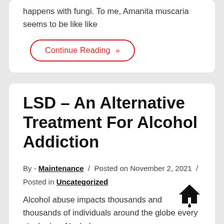happens with fungi. To me, Amanita muscaria seems to be like like
Continue Reading »
LSD – An Alternative Treatment For Alcohol Addiction
By - Maintenance / Posted on November 2, 2021 / Posted in Uncategorized
Alcohol abuse impacts thousands and thousands of individuals around the globe every single day. Alcohol